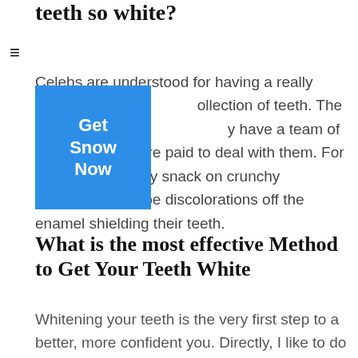teeth so white?
[Figure (other): Blue button with text 'Get Snow Now']
Celebs are understood for having a really white, collection of teeth. The truth is, they have a team of specialists that are paid to deal with them. For daily upkeep, they snack on crunchy vegetables to wipe discolorations off the enamel shielding their teeth.
What is the most effective Method to Get Your Teeth White
Whitening your teeth is the very first step to a better, more confident you. Directly, I like to do points while I get on the go, so the whitening on...